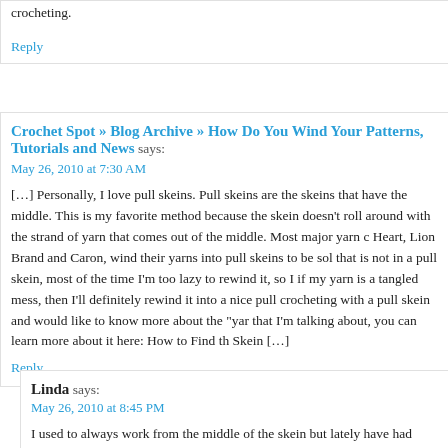crocheting.
Reply
Crochet Spot » Blog Archive » How Do You Wind Your Patterns, Tutorials and News says:
May 26, 2010 at 7:30 AM
[…] Personally, I love pull skeins. Pull skeins are the skeins that have the middle. This is my favorite method because the skein doesn't roll around with the strand of yarn that comes out of the middle. Most major yarn companies, like Red Heart, Lion Brand and Caron, wind their yarns into pull skeins to be sold. If I buy yarn that is not in a pull skein, most of the time I'm too lazy to rewind it, so I just use it as is. But if my yarn is a tangled mess, then I'll definitely rewind it into a nice pull skein. If you're crocheting with a pull skein and would like to know more about the "yarn center" that I'm talking about, you can learn more about it here: How to Find the Center of a Pull Skein […]
Reply
Linda says:
May 26, 2010 at 8:45 PM
I used to always work from the middle of the skein but lately have had the yarn becoming all tangled up as I use it. So to avoid the frustration of trying to straighten up the mess, I have even had to use scissors to continue…